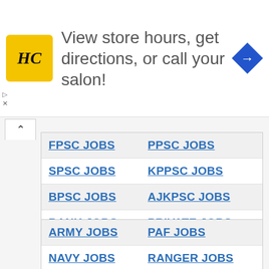[Figure (screenshot): Advertisement banner for Hair Club salon locator: yellow HC logo, text 'View store hours, get directions, or call your salon!', blue navigation arrow icon on right]
FPSC JOBS
PPSC JOBS
SPSC JOBS
KPPSC JOBS
BPSC JOBS
AJKPSC JOBS
BANK JOBS
PRIVATE JOBS
ARMY JOBS
PAF JOBS
NAVY JOBS
RANGER JOBS